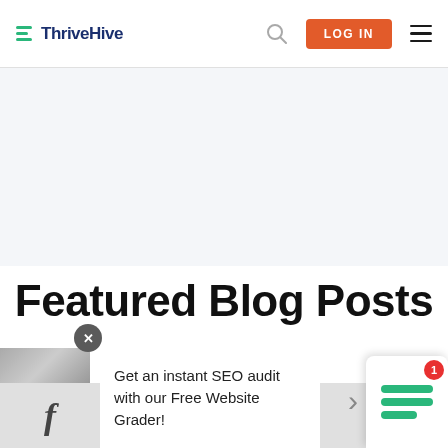ThriveHive — LOG IN
[Figure (screenshot): Light blue/gray banner area placeholder]
Featured Blog Posts
Get an instant SEO audit with our Free Website Grader!
[Figure (screenshot): Blog post thumbnail image, facebook icon, arrow nav, chat widget with notification badge showing 1]